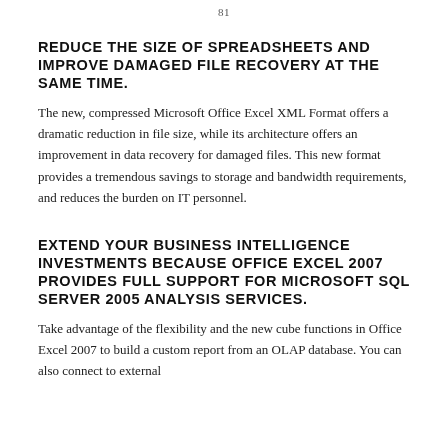81
REDUCE THE SIZE OF SPREADSHEETS AND IMPROVE DAMAGED FILE RECOVERY AT THE SAME TIME.
The new, compressed Microsoft Office Excel XML Format offers a dramatic reduction in file size, while its architecture offers an improvement in data recovery for damaged files. This new format provides a tremendous savings to storage and bandwidth requirements, and reduces the burden on IT personnel.
EXTEND YOUR BUSINESS INTELLIGENCE INVESTMENTS BECAUSE OFFICE EXCEL 2007 PROVIDES FULL SUPPORT FOR MICROSOFT SQL SERVER 2005 ANALYSIS SERVICES.
Take advantage of the flexibility and the new cube functions in Office Excel 2007 to build a custom report from an OLAP database. You can also connect to external